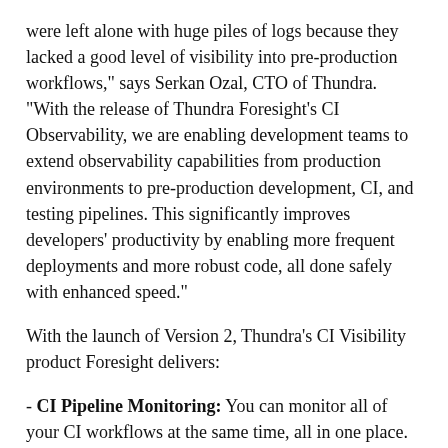were left alone with huge piles of logs because they lacked a good level of visibility into pre-production workflows," says Serkan Ozal, CTO of Thundra. "With the release of Thundra Foresight's CI Observability, we are enabling development teams to extend observability capabilities from production environments to pre-production development, CI, and testing pipelines. This significantly improves developers' productivity by enabling more frequent deployments and more robust code, all done safely with enhanced speed."
With the launch of Version 2, Thundra's CI Visibility product Foresight delivers:
- CI Pipeline Monitoring: You can monitor all of your CI workflows at the same time, all in one place. Gain insightful analytics at the moment you commit your code to improve the performance, cost, and development time. Thundra Foresight provides comprehensive visibility into your CI pipelines by generating card views for the CI workflows of your repositories.